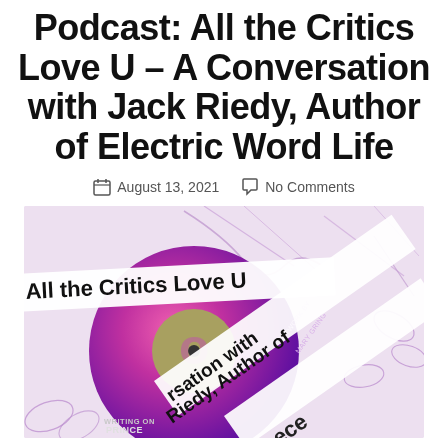Podcast: All the Critics Love U – A Conversation with Jack Riedy, Author of Electric Word Life
August 13, 2021   No Comments
[Figure (illustration): Book/album artwork showing a vinyl record with pink and purple gradient design, with text overlaid reading 'All the Critics Love U' and 'A Conversation with Jack Riedy, Author of Electric Word Life'. Background shows illustrated botanical/floral elements in purple. Text labels: 'ARTWORK BY MARY GRING', 'WRITING ON PRINCE']